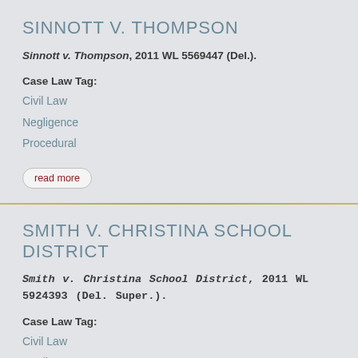SINNOTT V. THOMPSON
Sinnott v. Thompson, 2011 WL 5569447 (Del.).
Case Law Tag:
Civil Law
Negligence
Procedural
read more
SMITH V. CHRISTINA SCHOOL DISTRICT
Smith v. Christina School District, 2011 WL 5924393 (Del. Super.).
Case Law Tag:
Civil Law
Negligence